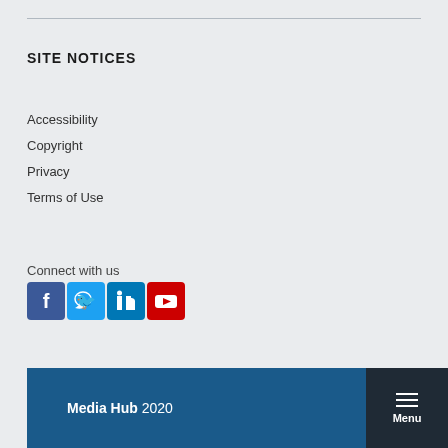SITE NOTICES
Accessibility
Copyright
Privacy
Terms of Use
Connect with us
[Figure (infographic): Social media icons: Facebook, Twitter, LinkedIn, YouTube]
Media Hub 2020